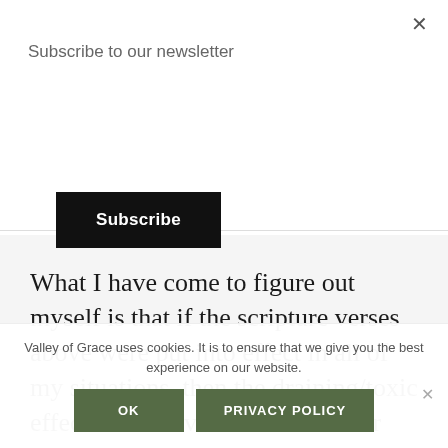Subscribe to our newsletter
Subscribe
What I have come to figure out myself is that if the scripture verses above were put into effect in all of my situations, then the draining/toxic effect could have been avoided or
Valley of Grace uses cookies. It is to ensure that we give you the best experience on our website.
OK
PRIVACY POLICY